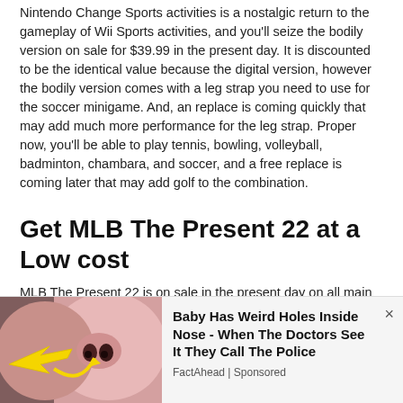Nintendo Change Sports activities is a nostalgic return to the gameplay of Wii Sports activities, and you'll seize the bodily version on sale for $39.99 in the present day. It is discounted to be the identical value because the digital version, however the bodily version comes with a leg strap you need to use for the soccer minigame. And, an replace is coming quickly that may add much more performance for the leg strap. Proper now, you'll be able to play tennis, bowling, volleyball, badminton, chambara, and soccer, and a free replace is coming later that may add golf to the combination.
Get MLB The Present 22 at a Low cost
MLB The Present 22 is on sale in the present day on all main platforms, letting you expertise the most recent, best baseball sport because the summer time will get underway. The brand new stadium creator lets you create the ballpark of your desires, whereas the discharge additionally
[Figure (photo): Advertisement image showing a close-up of a baby face with strange holes, with a yellow arrow pointing to the nose area]
Baby Has Weird Holes Inside Nose - When The Doctors See It They Call The Police
FactAhead | Sponsored